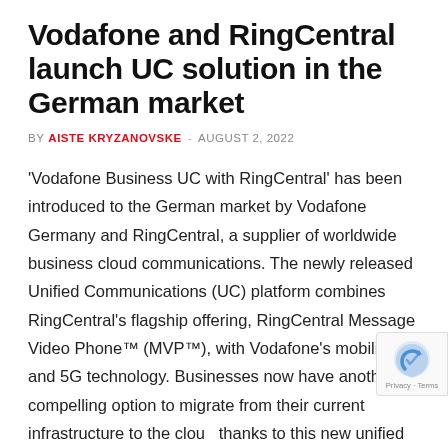Vodafone and RingCentral launch UC solution in the German market
BY AISTE KRYZANOVSKE - AUGUST 2, 2022
'Vodafone Business UC with RingCentral' has been introduced to the German market by Vodafone Germany and RingCentral, a supplier of worldwide business cloud communications. The newly released Unified Communications (UC) platform combines RingCentral's flagship offering, RingCentral Message Video Phone™ (MVP™), with Vodafone's mobility and 5G technology. Businesses now have another compelling option to migrate from their current infrastructure to the cloud thanks to this new unified communications solution. Vodafone Business UC with RingCentral enables staff to